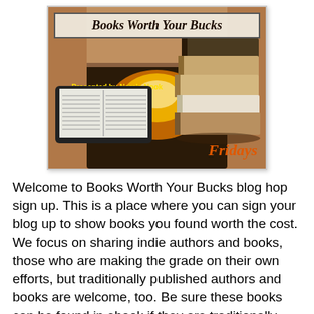[Figure (illustration): Books Worth Your Bucks banner image featuring a fireplace background with stacked books and a tablet/e-reader. Title reads 'Books Worth Your Bucks', subtitle 'Presented by Nara's Nook and the Nookettes', URL 'world.narasnook.com/blah', and 'Fridays' in orange text.]
Welcome to Books Worth Your Bucks blog hop sign up. This is a place where you can sign your blog up to show books you found worth the cost. We focus on sharing indie authors and books, those who are making the grade on their own efforts, but traditionally published authors and books are welcome, too. Be sure these books can be found in ebook if they are traditionally published because our goal is to connect the online and OpenSim community to the reading